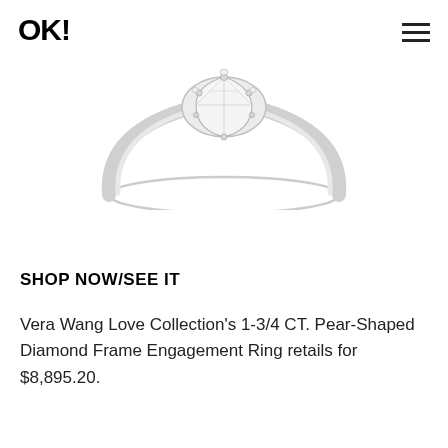OK!
[Figure (photo): Partial view of a pear-shaped diamond engagement ring on a white background, showing the upper portion of the ring with the diamond and band.]
SHOP NOW/SEE IT
Vera Wang Love Collection's 1-3/4 CT. Pear-Shaped Diamond Frame Engagement Ring retails for $8,895.20.